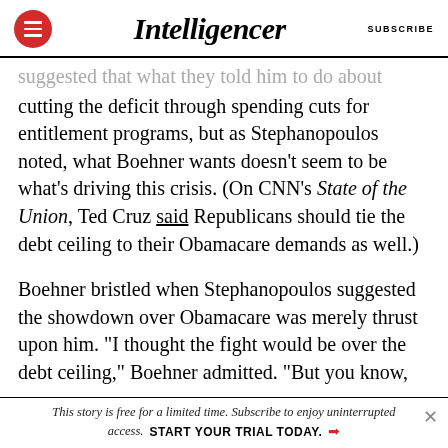Intelligencer | SUBSCRIBE
suggested that what they told him to do about cutting the deficit through spending cuts for entitlement programs, but as Stephanopoulos noted, what Boehner wants doesn’t seem to be what’s driving this crisis. (On CNN’s State of the Union, Ted Cruz said Republicans should tie the debt ceiling to their Obamacare demands as well.)
Boehner bristled when Stephanopoulos suggested the showdown over Obamacare was merely thrust upon him. “I thought the fight would be over the debt ceiling,” Boehner admitted. “But you know,
This story is free for a limited time. Subscribe to enjoy uninterrupted access. START YOUR TRIAL TODAY.